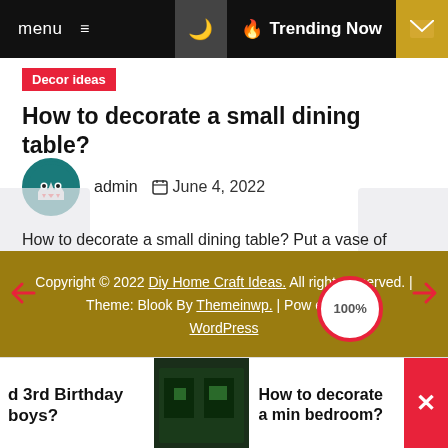menu  ≡    🌙   🔥 Trending Now   ✉
Decor ideas
How to decorate a small dining table?
admin   June 4, 2022
How to decorate a small dining table? Put a vase of flowers in the center of the table to freshen up the space. You can choose to have the vase be the focus...
Copyright © 2022 Diy Home Craft Ideas. All rights reserved. | Theme: Blook By Themeinwp. | Powered by WordPress
d 3rd Birthday boys?   How to decorate a min bedroom?